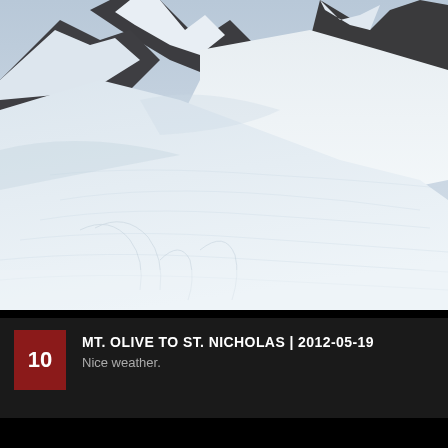[Figure (photo): Snow-covered mountain ridge with rocky peak visible at upper right. The foreground shows a broad expanse of white snow with ski or wind tracks visible. Sky is overcast gray-blue. The image captures a high-alpine scene with steep snow slopes and dark exposed rock near the summit.]
10  MT. OLIVE TO ST. NICHOLAS | 2012-05-19  Nice weather.